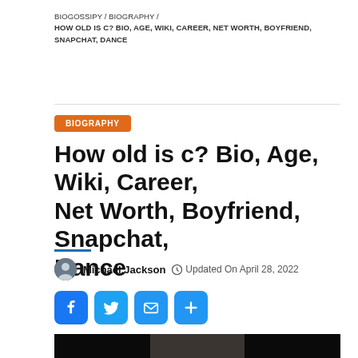BIOGOSSIPY / BIOGRAPHY /
HOW OLD IS C? BIO, AGE, WIKI, CAREER, NET WORTH, BOYFRIEND, SNAPCHAT, DANCE
BIOGRAPHY
How old is c? Bio, Age, Wiki, Career, Net Worth, Boyfriend, Snapchat, Dance
Michael Jackson  Updated On April 28, 2022
[Figure (photo): Photo of a young woman with dark hair sitting in what appears to be a car interior, with dark background on the sides]